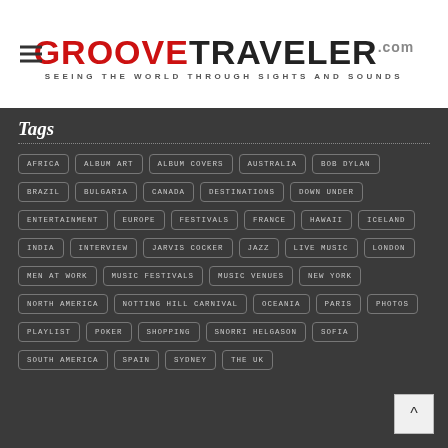GrooveTraveler.com — Seeing the World Through Sights and Sounds
Tags
AFRICA
ALBUM ART
ALBUM COVERS
AUSTRALIA
BOB DYLAN
BRAZIL
BULGARIA
CANADA
DESTINATIONS
DOWN UNDER
ENTERTAINMENT
EUROPE
FESTIVALS
FRANCE
HAWAII
ICELAND
INDIA
INTERVIEW
JARVIS COCKER
JAZZ
LIVE MUSIC
LONDON
MEN AT WORK
MUSIC FESTIVALS
MUSIC VENUES
NEW YORK
NORTH AMERICA
NOTTING HILL CARNIVAL
OCEANIA
PARIS
PHOTOS
PLAYLIST
POKER
SHOPPING
SNORRI HELGASON
SOFIA
SOUTH AMERICA
SPAIN
SYDNEY
THE UK